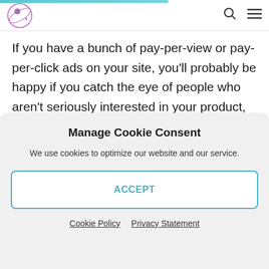[Logo] [Search icon] [Menu icon]
If you have a bunch of pay-per-view or pay-per-click ads on your site, you'll probably be happy if you catch the eye of people who aren't seriously interested in your product, as their visits to your site may increase your ad revenue. However, these incidental site visits should not be
Manage Cookie Consent
We use cookies to optimize our website and our service.
ACCEPT
Cookie Policy   Privacy Statement